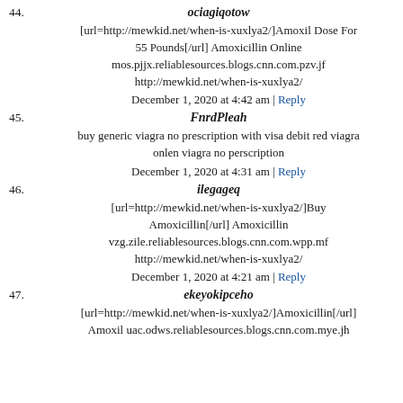44. ociagiqotow — [url=http://mewkid.net/when-is-xuxlya2/]Amoxil Dose For 55 Pounds[/url] Amoxicillin Online mos.pjjx.reliablesources.blogs.cnn.com.pzv.jf http://mewkid.net/when-is-xuxlya2/ — December 1, 2020 at 4:42 am | Reply
45. FnrdPleah — buy generic viagra no prescription with visa debit red viagra onlen viagra no perscription — December 1, 2020 at 4:31 am | Reply
46. ilegageq — [url=http://mewkid.net/when-is-xuxlya2/]Buy Amoxicillin[/url] Amoxicillin vzg.zile.reliablesources.blogs.cnn.com.wpp.mf http://mewkid.net/when-is-xuxlya2/ — December 1, 2020 at 4:21 am | Reply
47. ekeyokipceho — [url=http://mewkid.net/when-is-xuxlya2/]Amoxicillin[/url] Amoxil uac.odws.reliablesources.blogs.cnn.com.mye.jh